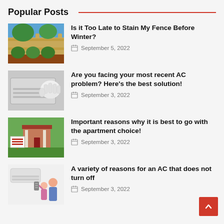Popular Posts
Is it Too Late to Stain My Fence Before Winter? — September 5, 2022
Are you facing your most recent AC problem? Here's the best solution! — September 3, 2022
Important reasons why it is best to go with the apartment choice! — September 3, 2022
A variety of reasons for an AC that does not turn off — September 3, 2022